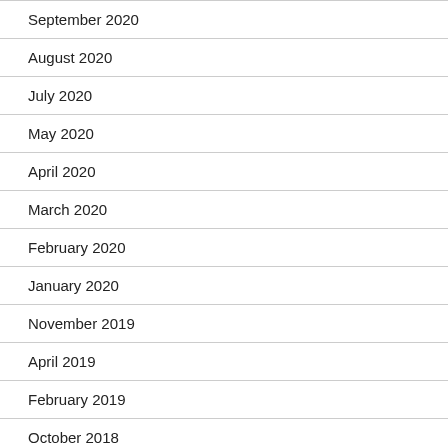September 2020
August 2020
July 2020
May 2020
April 2020
March 2020
February 2020
January 2020
November 2019
April 2019
February 2019
October 2018
April 2018